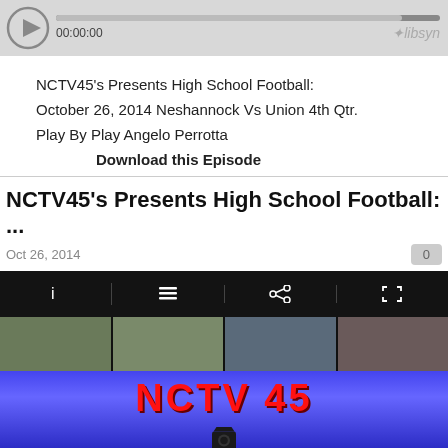[Figure (other): Audio player bar with play button, progress bar, time 00:00:00, and libsyn logo]
NCTV45's Presents High School Football:
October 26, 2014 Neshannock Vs Union 4th Qtr.
Play By Play Angelo Perrotta
Download this Episode
NCTV45's Presents High School Football: ...
Oct 26, 2014
[Figure (screenshot): Video thumbnail showing NCTV 45 logo on blue background with camera icon, and top navigation bar with i, list, share, and fullscreen icons and four photo thumbnails]